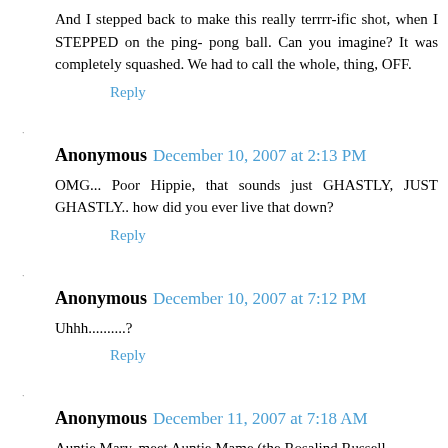And I stepped back to make this really terrrr-ific shot, when I STEPPED on the ping- pong ball. Can you imagine? It was completely squashed. We had to call the whole, thing, OFF.
Reply
Anonymous December 10, 2007 at 2:13 PM
OMG... Poor Hippie, that sounds just GHASTLY, JUST GHASTLY.. how did you ever live that down?
Reply
Anonymous December 10, 2007 at 7:12 PM
Uhhh..........?
Reply
Anonymous December 11, 2007 at 7:18 AM
Auntie Mary, meet Auntie Mame (the Rosalind Russell